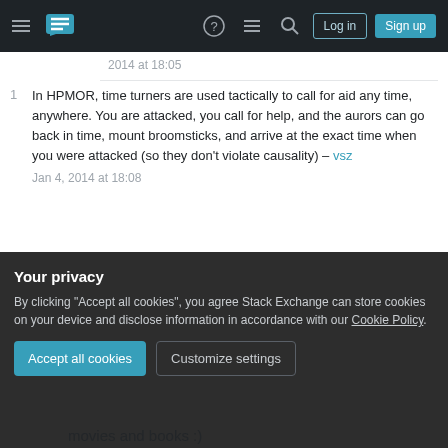Stack Exchange navigation bar with Log in and Sign up buttons
2014 at 18:05
1 In HPMOR, time turners are used tactically to call for aid any time, anywhere. You are attacked, you call for help, and the aurors can go back in time, mount broomsticks, and arrive at the exact time when you were attacked (so they don't violate causality) – vsz Jan 4, 2014 at 18:08
Add a comment
Things you do in the present change the future. Thing you've done in the past changed the present.
Your privacy
By clicking "Accept all cookies", you agree Stack Exchange can store cookies on your device and disclose information in accordance with our Cookie Policy.
movies and books :)